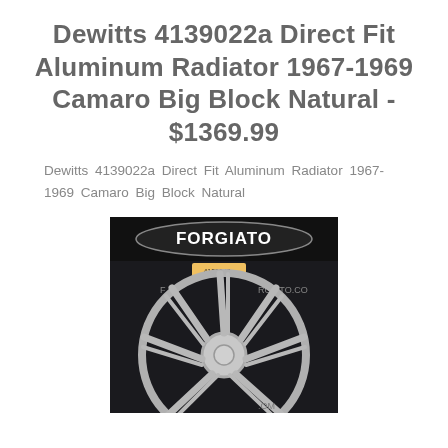Dewitts 4139022a Direct Fit Aluminum Radiator 1967-1969 Camaro Big Block Natural - $1369.99
Dewitts 4139022a Direct Fit Aluminum Radiator 1967-1969 Camaro Big Block Natural
[Figure (photo): Photo of a chrome/silver multi-spoke wheel rim displayed in front of a dark Forgiato branded backdrop. A small price tag is visible. The Forgiato logo and website URL are partially visible on the backdrop.]